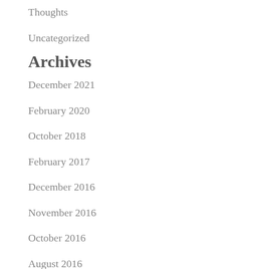Thoughts
Uncategorized
Archives
December 2021
February 2020
October 2018
February 2017
December 2016
November 2016
October 2016
August 2016
May 2016
February 2016
August 2015